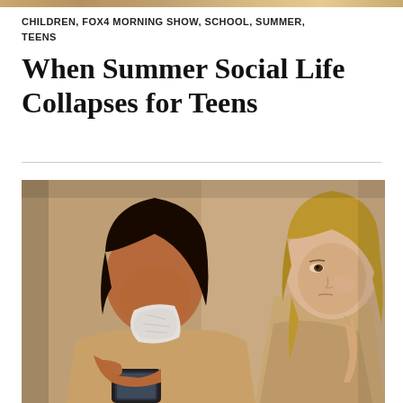CHILDREN, FOX4 MORNING SHOW, SCHOOL, SUMMER, TEENS
When Summer Social Life Collapses for Teens
[Figure (photo): Two teenage girls, one crying into a tissue while looking at her phone, the other looking on with a concerned expression]